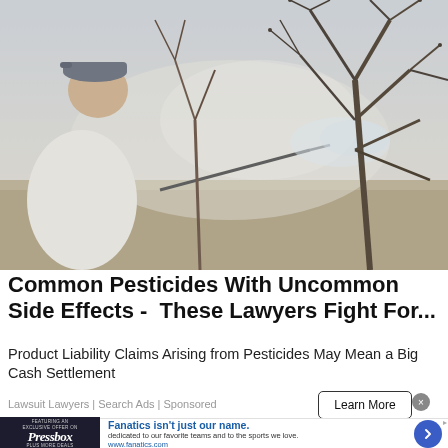[Figure (photo): Person in a white shirt and cap seen from behind, spraying pesticides with a hose wand onto bare winter tree branches, with mist visible in the air]
Common Pesticides With Uncommon Side Effects -  These Lawyers Fight For...
Product Liability Claims Arising from Pesticides May Mean a Big Cash Settlement
Lawsuit Lawyers | Search Ads | Sponsored
Learn More
Fanatics isn't just our name.
dedicated to our favorite teams and to the sports we love.
www.fanatics.com